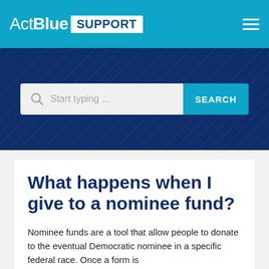ActBlue SUPPORT
[Figure (screenshot): Search bar with placeholder text 'Start typing ...' and a SEARCH button]
What happens when I give to a nominee fund?
Nominee funds are a tool that allow people to donate to the eventual Democratic nominee in a specific federal race. Once a form is...